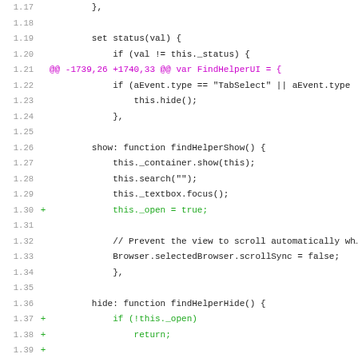[Figure (screenshot): Source code diff view showing JavaScript code for FindHelperUI with added lines (green) for _open property management in show/hide functions. Line numbers 1.17 to 1.48 visible.]